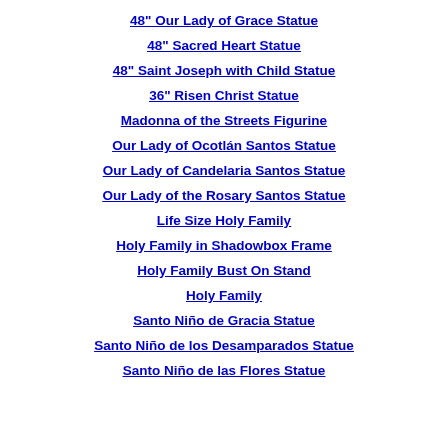48" Our Lady of Grace Statue
48" Sacred Heart Statue
48" Saint Joseph with Child Statue
36" Risen Christ Statue
Madonna of the Streets Figurine
Our Lady of Ocotlán Santos Statue
Our Lady of Candelaria Santos Statue
Our Lady of the Rosary Santos Statue
Life Size Holy Family
Holy Family in Shadowbox Frame
Holy Family Bust On Stand
Holy Family
Santo Niño de Gracia Statue
Santo Niño de los Desamparados Statue
Santo Niño de las Flores Statue